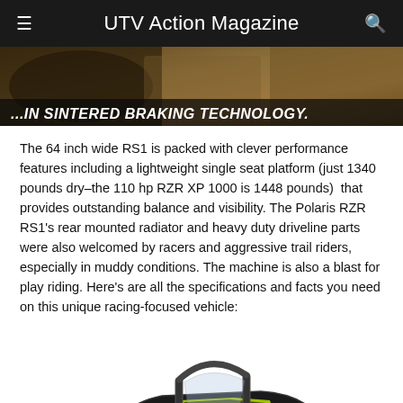UTV Action Magazine
[Figure (photo): Advertisement banner showing UTV/off-road vehicle in dusty terrain with text '...IN SINTERED BRAKING TECHNOLOGY.']
The 64 inch wide RS1 is packed with clever performance features including a lightweight single seat platform (just 1340 pounds dry–the 110 hp RZR XP 1000 is 1448 pounds)  that provides outstanding balance and visibility. The Polaris RZR RS1's rear mounted radiator and heavy duty driveline parts were also welcomed by racers and aggressive trail riders, especially in muddy conditions. The machine is also a blast for play riding. Here's are all the specifications and facts you need on this unique racing-focused vehicle:
[Figure (photo): Polaris RZR RS1 side-by-side UTV in black and neon yellow/green color scheme, viewed from the front-left angle, showing roll cage, single seat, and aggressive styling.]